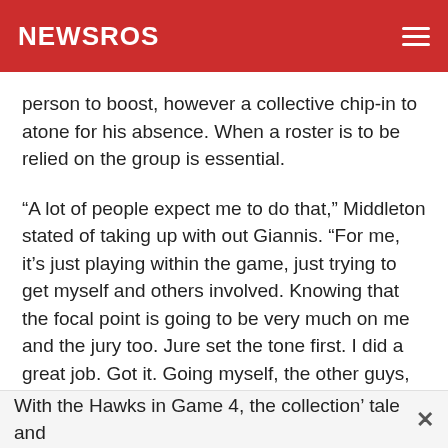NEWSROS
person to boost, however a collective chip-in to atone for his absence. When a roster is to be relied on the group is essential.
“A lot of people expect me to do that,” Middleton stated of taking up with out Giannis. “For me, it’s just playing within the game, just trying to get myself and others involved. Knowing that the focal point is going to be very much on me and the jury too. Jure set the tone first. I did a great job. Got it. Going myself, the other guys, Brooke and Bobby.”
With the Hawks in Game 4, the collection’ tale and